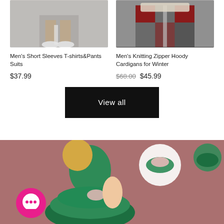[Figure (photo): Men's short sleeves t-shirts and pants suit product photo showing legs and white sneakers on pavement]
[Figure (photo): Men's knitting zipper hoody cardigan for winter product photo showing patchwork jacket]
Men's Short Sleeves T-shirts&Pants Suits
Men's Knitting Zipper Hoody Cardigans for Winter
$37.99
$68.00  $45.99
View all
[Figure (photo): A young girl wearing a green dress with bow, shown from behind, with detail inset circles showing the back bow detail and ruffle layers. A pink chat bubble icon is visible in the lower left.]